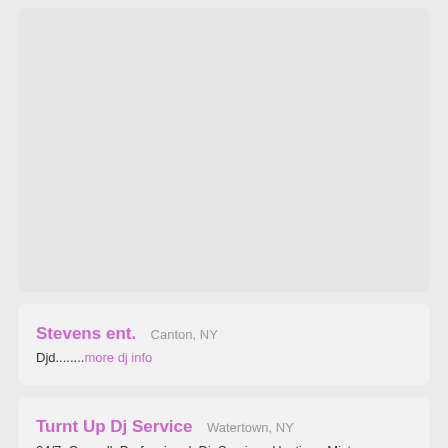[Figure (other): Large light gray placeholder card area at the top of the page]
Stevens ent.
Canton, NY
Djd........more dj info
Turnt Up Dj Service
Watertown, NY
24/7 On call Professional Dj Service. Hosting, Mixtape Drops,